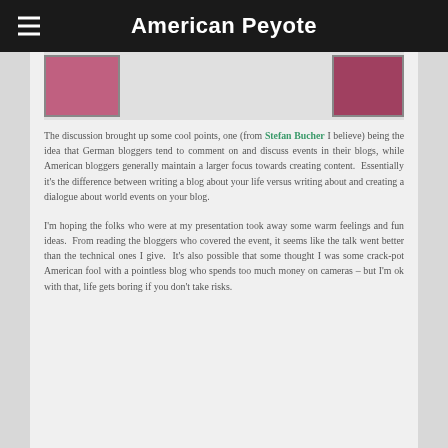American Peyote
[Figure (photo): Partial view of two photos: a person in a pink shirt on the left, and another image on the right, on a light gray background]
The discussion brought up some cool points, one (from Stefan Bucher I believe) being the idea that German bloggers tend to comment on and discuss events in their blogs, while American bloggers generally maintain a larger focus towards creating content.  Essentially it's the difference between writing a blog about your life versus writing about and creating a dialogue about world events on your blog.
I'm hoping the folks who were at my presentation took away some warm feelings and fun ideas.  From reading the bloggers who covered the event, it seems like the talk went better than the technical ones I give.  It's also possible that some thought I was some crack-pot American fool with a pointless blog who spends too much money on cameras – but I'm ok with that, life gets boring if you don't take risks.